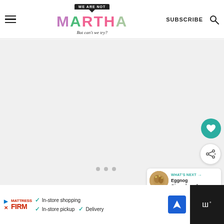WE ARE NOT MARTHA — But can't we try? | SUBSCRIBE
[Figure (screenshot): Main content area showing a loading/blank gray region with three dots at the bottom center, a teal heart FAB button, a white share FAB button, and a 'WHAT'S NEXT → Eggnog Gingerbread...' widget on the right side]
[Figure (infographic): Bottom ad bar: Mattress Firm ad with checkmarks for In-store shopping, In-store pickup, Delivery, a navigation icon, and a dark right panel with logo]